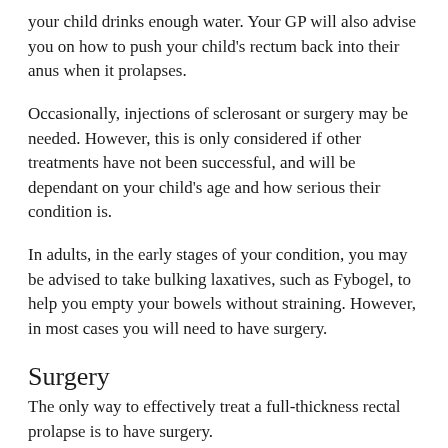your child drinks enough water. Your GP will also advise you on how to push your child's rectum back into their anus when it prolapses.
Occasionally, injections of sclerosant or surgery may be needed. However, this is only considered if other treatments have not been successful, and will be dependant on your child's age and how serious their condition is.
In adults, in the early stages of your condition, you may be advised to take bulking laxatives, such as Fybogel, to help you empty your bowels without straining. However, in most cases you will need to have surgery.
Surgery
The only way to effectively treat a full-thickness rectal prolapse is to have surgery.
There are different types of surgery, but each type falls